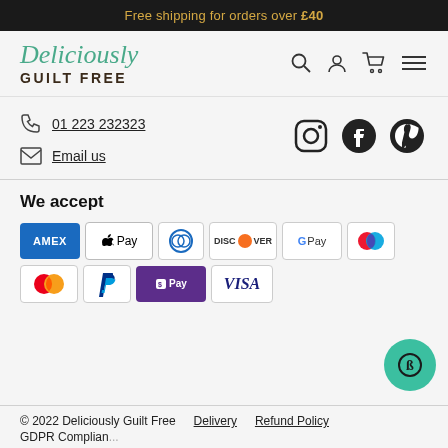Free shipping for orders over £40
[Figure (logo): Deliciously Guilt Free logo with teal cursive script and bold dark text]
[Figure (infographic): Navigation icons: search, account, cart, menu]
01 223 232323
Email us
[Figure (infographic): Social media icons: Instagram, Facebook, Pinterest]
We accept
[Figure (infographic): Payment method logos: American Express, Apple Pay, Diners Club, Discover, Google Pay, Maestro, Mastercard, PayPal, Shopify Pay, Visa]
© 2022 Deliciously Guilt Free    Delivery    Refund Policy    GDPR Complian...